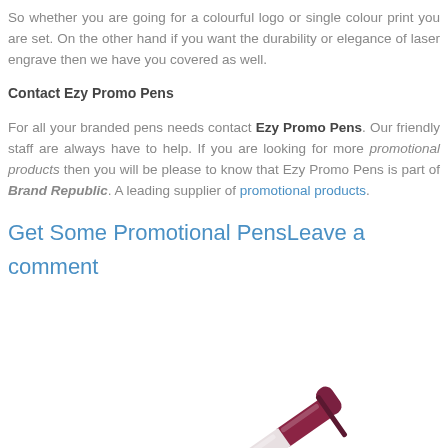So whether you are going for a colourful logo or single colour print you are set. On the other hand if you want the durability or elegance of laser engrave then we have you covered as well.
Contact Ezy Promo Pens
For all your branded pens needs contact Ezy Promo Pens. Our friendly staff are always have to help. If you are looking for more promotional products then you will be please to know that Ezy Promo Pens is part of Brand Republic. A leading supplier of promotional products.
Get Some Promotional PensLeave a comment
[Figure (photo): Photo of a dark red/maroon promotional pen shown at an angle from the bottom right corner of the page.]